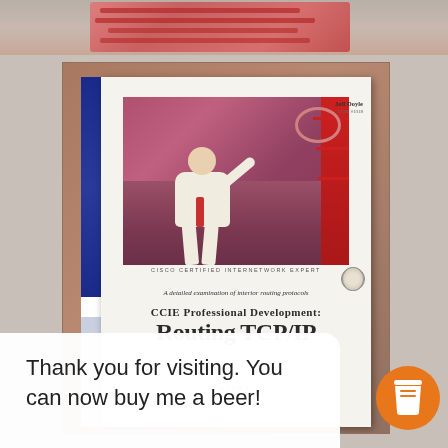[Figure (photo): Top strip showing red cables/wires on a gray surface]
[Figure (photo): Photo of the book 'CCIE Professional Development: Routing TCP/IP Volume I' by Jeff Doyle, showing the book cover with artistic illustration of a person and a red tower, placed on a brown desk surface next to a blue book spine]
Thank you for visiting. You can now buy me a beer!